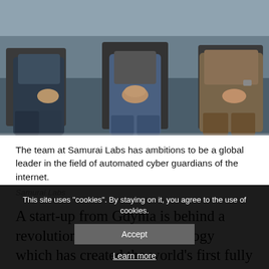[Figure (photo): Three men seated side by side, partial lower body view showing torsos and legs; left man in dark suit trousers, center man in jeans with hands clasped, right man in jeans with casual top]
The team at Samurai Labs has ambitions to be a global leader in the field of automated cyber guardians of the internet.
Samurai Labs
A start-up from Gdynia is behind a revolutionary new AI technology which has created the world’s first fully autonomous cyber guardian to detect and intervene in messages of cyber-violence,
This site uses "cookies". By staying on it, you agree to the use of cookies.
Accept
Learn more